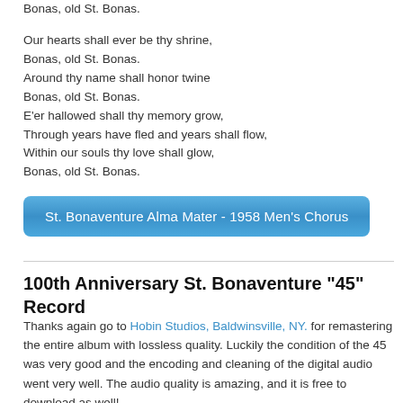Bonas, old St. Bonas.

Our hearts shall ever be thy shrine,
Bonas, old St. Bonas.
Around thy name shall honor twine
Bonas, old St. Bonas.
E'er hallowed shall thy memory grow,
Through years have fled and years shall flow,
Within our souls thy love shall glow,
Bonas, old St. Bonas.
[Figure (other): Blue button labeled: St. Bonaventure Alma Mater - 1958 Men's Chorus]
100th Anniversary St. Bonaventure "45" Record
Thanks again go to Hobin Studios, Baldwinsville, NY. for remastering the entire album with lossless quality. Luckily the condition of the 45 was very good and the encoding and cleaning of the digital audio went very well. The audio quality is amazing, and it is free to download as well!